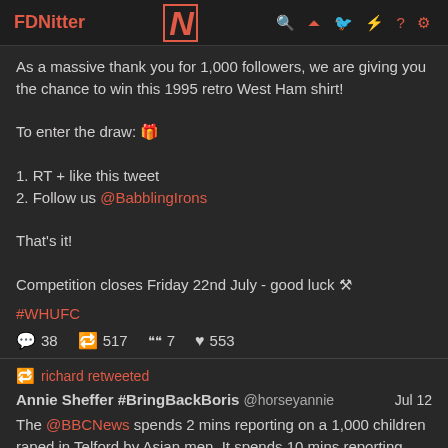FDNitter  N  🔍 ⏶ 🐦 ⚡ ? ⚙
As a massive thank you for 1,000 followers, we are giving you the chance to win this 1995 retro West Ham shirt!
To enter the draw: 🎁
1. RT + like this tweet
2. Follow us @BabblingIrons
That's it!
Competition closes Friday 22nd July - good luck ⚒
#WHUFC
💬 38  🔁 517  ❝ 7  ♥ 553
🔁 richard retweeted
Annie Sheffer #BringBackBoris @horseyannie  Jul 12
The @BBCNews spends 2 mins reporting on a 1,000 children raped in Telford by Asian men. It spends 10 mins reporting hearsay that the SAS killed unarmed Afghans during the violent war in Afghanistan.  When British soldiers